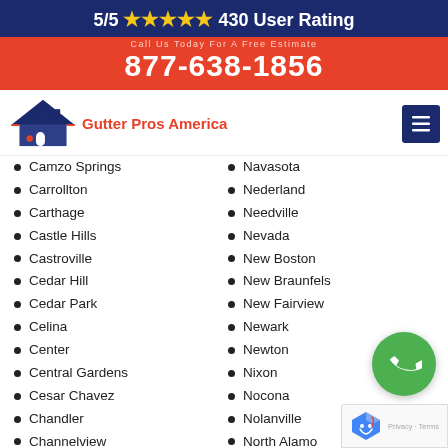5/5 ★★★★★ 430 User Rating
877-638-1856
[Figure (logo): Gutter Pros America logo with house icon]
Camzo Springs
Carrollton
Carthage
Castle Hills
Castroville
Cedar Hill
Cedar Park
Celina
Center
Central Gardens
Cesar Chavez
Chandler
Channelview
Charlotte
Navasota
Nederland
Needville
Nevada
New Boston
New Braunfels
New Fairview
Newark
Newton
Nixon
Nocona
Nolanville
North Alamo
North Richland Hills